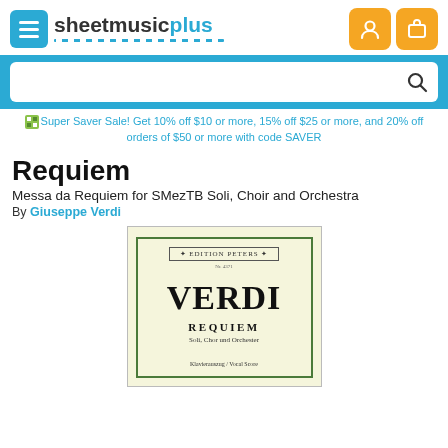[Figure (logo): Sheet Music Plus logo with hamburger menu icon and blue dotted underline]
[Figure (other): Two orange icon buttons for user account and shopping cart in header]
Search bar with magnifying glass icon on blue background
Super Saver Sale! Get 10% off $10 or more, 15% off $25 or more, and 20% off orders of $50 or more with code SAVER
Requiem
Messa da Requiem for SMezTB Soli, Choir and Orchestra
By Giuseppe Verdi
[Figure (illustration): Book cover of Verdi Requiem published by Edition Peters showing VERDI REQUIEM in large type with subtitle Soli, Chor und Orchester and Klavierauszug / Vocal Score]